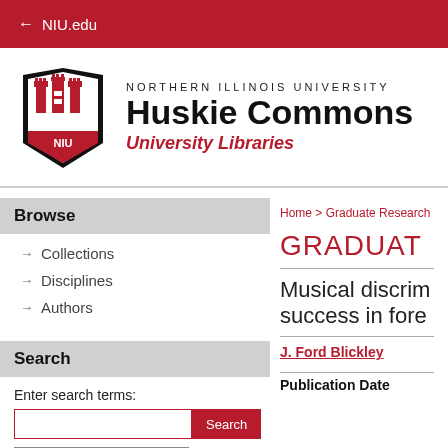← NIU.edu
[Figure (logo): Northern Illinois University Huskie Commons University Libraries logo with NIU shield]
Home > Graduate Research & A
Browse
Collections
Disciplines
Authors
Search
Enter search terms:
in this series
GRADUAT
Musical discrim success in fore
J. Ford Blickley
Publication Date